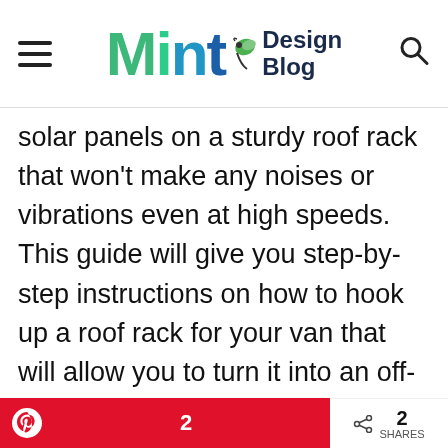Mint Design Blog
solar panels on a sturdy roof rack that won't make any noises or vibrations even at high speeds. This guide will give you step-by-step instructions on how to hook up a roof rack for your van that will allow you to turn it into an off-grid living machine! It's like having a complete RV/Camper without paying the price of a brand new rig
2  < 2 SHARES